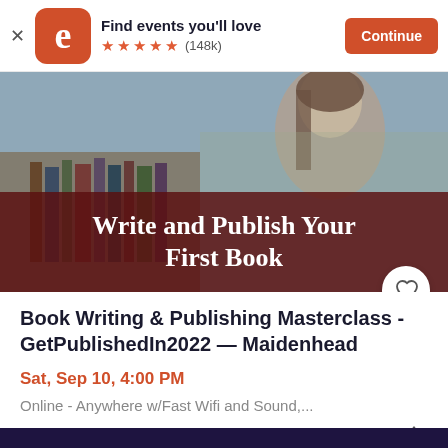[Figure (screenshot): Eventbrite app banner with logo, 'Find events you'll love' text, 5 orange stars, (148k) reviews, and orange Continue button]
[Figure (photo): Hero image of a woman in a library with dark red overlay text 'Write and Publish Your First Book' and a heart/favourite button]
Book Writing & Publishing Masterclass -GetPublishedIn2022 — Maidenhead
Sat, Sep 10, 4:00 PM
Online - Anywhere w/Fast Wifi and Sound,...
Free